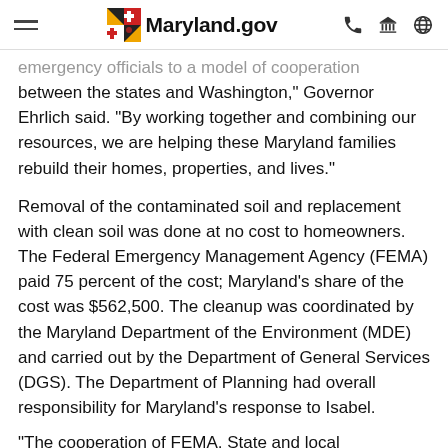Maryland.gov
emergency officials to a model of cooperation between the states and Washington,” Governor Ehrlich said. “By working together and combining our resources, we are helping these Maryland families rebuild their homes, properties, and lives.”
Removal of the contaminated soil and replacement with clean soil was done at no cost to homeowners. The Federal Emergency Management Agency (FEMA) paid 75 percent of the cost; Maryland’s share of the cost was $562,500. The cleanup was coordinated by the Maryland Department of the Environment (MDE) and carried out by the Department of General Services (DGS). The Department of Planning had overall responsibility for Maryland’s response to Isabel.
“The cooperation of FEMA, State and local